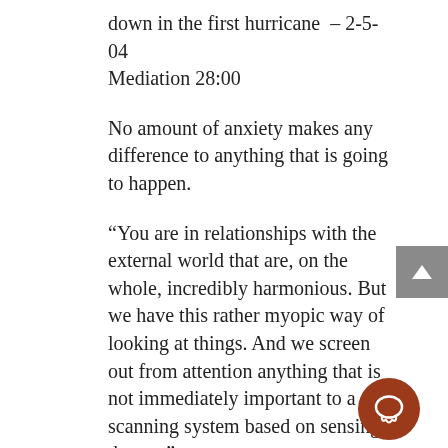down in the first hurricane  – 2-5-04
Mediation 28:00
No amount of anxiety makes any difference to anything that is going to happen.
“You are in relationships with the external world that are, on the whole, incredibly harmonious. But we have this rather myopic way of looking at things. And we screen out from attention anything that is not immediately important to a scanning system based on sensing danger.”
RELATIVITY & PERCEPTION
“There is no such thing as ‘the truth’ that can be stated. In other words, ask the question: